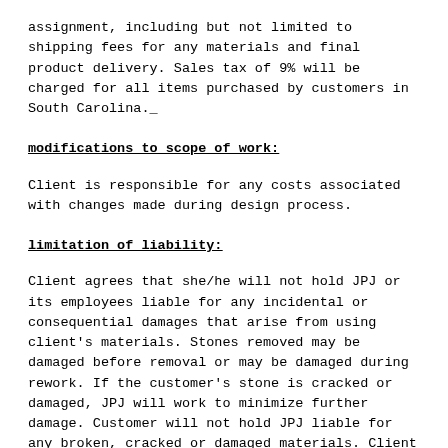assignment, including but not limited to shipping fees for any materials and final product delivery. Sales tax of 9% will be charged for all items purchased by customers in South Carolina.
modifications to scope of work:
Client is responsible for any costs associated with changes made during design process.
limitation of liability:
Client agrees that she/he will not hold JPJ or its employees liable for any incidental or consequential damages that arise from using client's materials. Stones removed may be damaged before removal or may be damaged during rework. If the customer's stone is cracked or damaged, JPJ will work to minimize further damage. Customer will not hold JPJ liable for any broken, cracked or damaged materials. Client releases JPJ from any liability for materials shipped to JPJ.
default of payment: